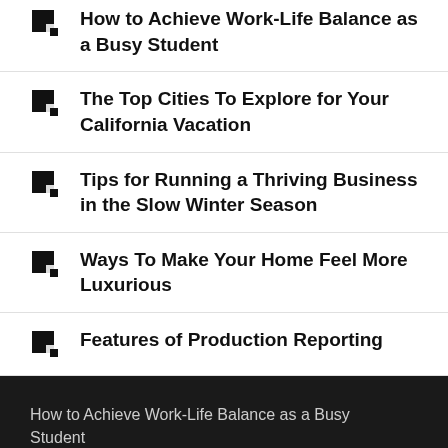How to Achieve Work-Life Balance as a Busy Student
The Top Cities To Explore for Your California Vacation
Tips for Running a Thriving Business in the Slow Winter Season
Ways To Make Your Home Feel More Luxurious
Features of Production Reporting
How to Achieve Work-Life Balance as a Busy Student
AUGUST 11, 2022